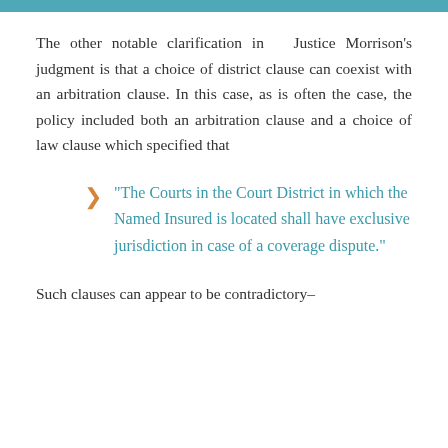The other notable clarification in Justice Morrison's judgment is that a choice of district clause can coexist with an arbitration clause. In this case, as is often the case, the policy included both an arbitration clause and a choice of law clause which specified that
"The Courts in the Court District in which the Named Insured is located shall have exclusive jurisdiction in case of a coverage dispute."
Such clauses can appear to be contradictory–